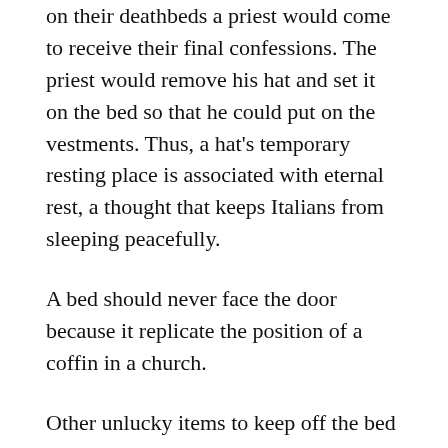on their deathbeds a priest would come to receive their final confessions. The priest would remove his hat and set it on the bed so that he could put on the vestments. Thus, a hat's temporary resting place is associated with eternal rest, a thought that keeps Italians from sleeping peacefully.
A bed should never face the door because it replicate the position of a coffin in a church.
Other unlucky items to keep off the bed are clothes hangers, hairbrushes, and shoes (of course the last is a hygiene issue, too).
Bad Luck Toasting
Never raise a toast with a glass full of water as it is bad luck. Don't cross arms when you clink wine glasses together. Also, be sure look fellow toasters in the eye when